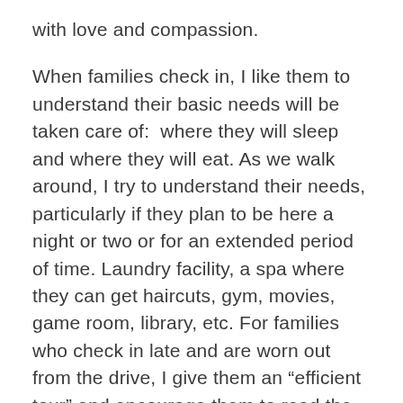with love and compassion.
When families check in, I like them to understand their basic needs will be taken care of:  where they will sleep and where they will eat. As we walk around, I try to understand their needs, particularly if they plan to be here a night or two or for an extended period of time. Laundry facility, a spa where they can get haircuts, gym, movies, game room, library, etc. For families who check in late and are worn out from the drive, I give them an “efficient tour” and encourage them to read the facility information in their room or explore the House when they have a free moment.
When I was a Housewarmer, I certainly had the ability to say hi to folks over the weeks and make